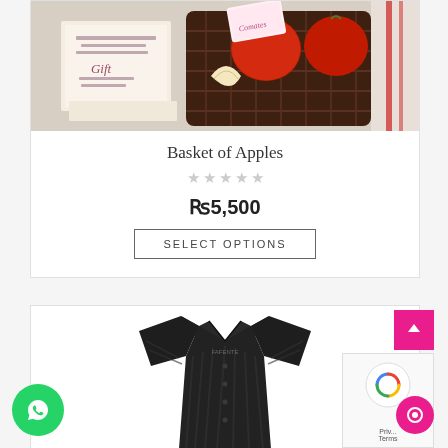[Figure (photo): Product photo: a wicker basket filled with red apples, with a gift card/note beside it on a white surface.]
Basket of Apples
★★★★★ (empty star rating)
₨5,500
SELECT OPTIONS
[Figure (photo): Product photo: a dark charcoal/black striped formal dress shirt on a white background.]